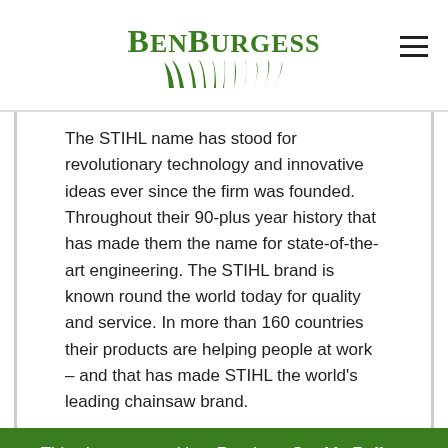BenBurgess
The STIHL name has stood for revolutionary technology and innovative ideas ever since the firm was founded. Throughout their 90-plus year history that has made them the name for state-of-the-art engineering. The STIHL brand is known round the world today for quality and service. In more than 160 countries their products are helping people at work – and that has made STIHL the world's leading chainsaw brand.
This site uses cookies. Read our Cookie Policy.
OK, NO PROBLEM
Related products
0  0